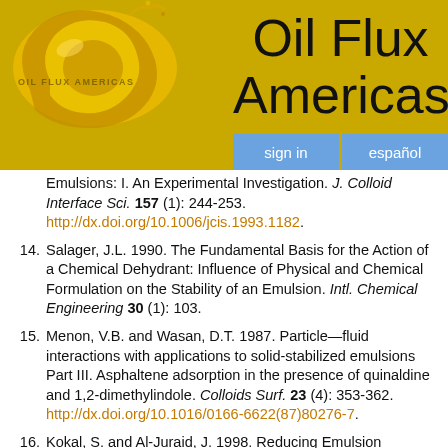[Figure (logo): Oil Flux Americas logo with golden oil droplet ring image and brand name]
Oil Flux Americas
sign in | español
Emulsions: I. An Experimental Investigation. J. Colloid Interface Sci. 157 (1): 244-253. http://dx.doi.org/10.1006/jcis.1993.1182.
14. Salager, J.L. 1990. The Fundamental Basis for the Action of a Chemical Dehydrant: Influence of Physical and Chemical Formulation on the Stability of an Emulsion. Intl. Chemical Engineering 30 (1): 103.
15. Menon, V.B. and Wasan, D.T. 1987. Particle—fluid interactions with applications to solid-stabilized emulsions Part III. Asphaltene adsorption in the presence of quinaldine and 1,2-dimethylindole. Colloids Surf. 23 (4): 353-362. http://dx.doi.org/10.1016/0166-6622(87)80276-7.
16. Kokal, S. and Al-Juraid, J. 1998. Reducing Emulsion Problems By Controlling Asphaltene Solubility and